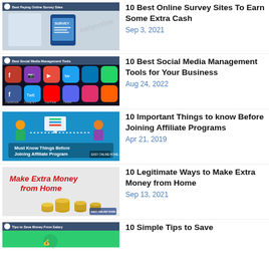[Figure (photo): Thumbnail: person holding phone with survey app, dark blue header bar reading 'Best Paying Online Survey Sites']
10 Best Online Survey Sites To Earn Some Extra Cash
Sep 3, 2021
[Figure (photo): Thumbnail: social media app icons on dark background, header bar reading 'Best Social Media Management Tools']
10 Best Social Media Management Tools for Your Business
Aug 24, 2022
[Figure (photo): Thumbnail: blue background with cartoon figure, text 'Must Know Things Before Joining Affiliate Program']
10 Important Things to know Before Joining Affiliate Programs
Apr 21, 2019
[Figure (photo): Thumbnail: stacked coins with text 'Make Extra Money from Home']
10 Legitimate Ways to Make Extra Money from Home
Sep 13, 2021
[Figure (photo): Thumbnail: header bar reading 'Tips to Save Money From Salary']
10 Simple Tips to Save